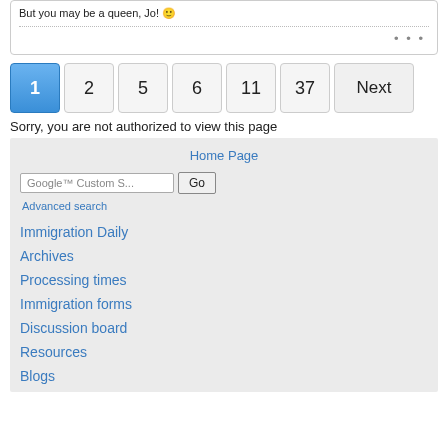But you may be a queen, Jo! 🙂
• • •
1 2 5 6 11 37 Next
Sorry, you are not authorized to view this page
Home Page
Google Custom Search Go
Advanced search
Immigration Daily
Archives
Processing times
Immigration forms
Discussion board
Resources
Blogs